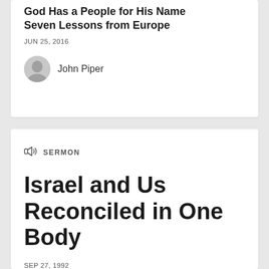God Has a People for His Name Seven Lessons from Europe
JUN 25, 2016
John Piper
SERMON
Israel and Us Reconciled in One Body
SEP 27, 1992
Scripture: Ephesians 2:11–22